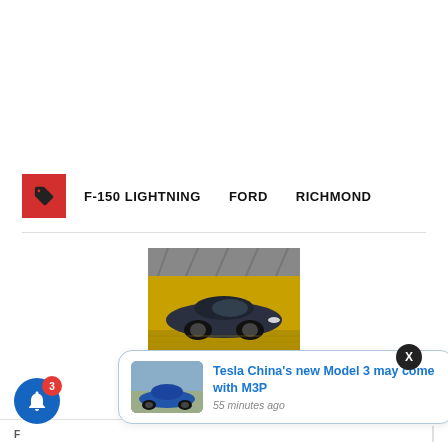F-150 LIGHTNING   FORD   RICHMOND
[Figure (photo): A dark-colored car (Tesla Model 3) speeding past a yellow wall background in what appears to be a tunnel or garage]
[Figure (screenshot): Notification popup: Tesla China's new Model 3 may come with M3P - 55 minutes ago, with a thumbnail of a blue Tesla Model 3]
Tesla China's new Model 3 may come with M3P
55 minutes ago